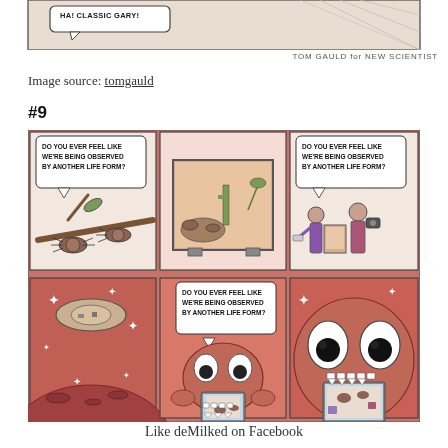[Figure (illustration): Top portion of a Tom Gauld comic strip for New Scientist, showing a speech bubble saying 'HA! CLASSIC GARY!' with crosshatched background]
TOM GAULD for NEW SCIENTIST
Image source: tomgauld
#9
[Figure (illustration): Six-panel comic strip showing creatures asking 'DO YOU EVER FEEL LIKE WE'RE BEING OBSERVED BY ANOTHER LIFE FORM?' in a recursive, nested joke: bugs on branches, terrarium, humans at museum, alien in space, alien with tablet, alien close-up looking at screen]
Like deMilked on Facebook